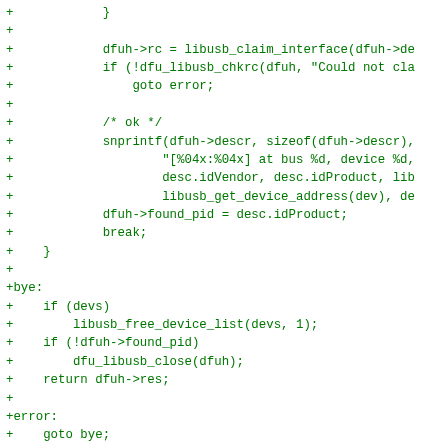Code diff showing C source additions including libusb_claim_interface, snprintf, dfuh->found_pid, bye and error labels, libusb_free_device_list, dfu_libusb_close, USE_LIBUSBAPI endif, and list of supported APIs comment.